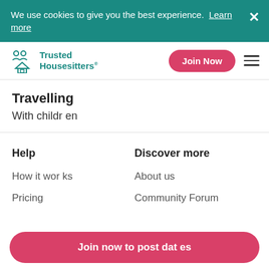We use cookies to give you the best experience. Learn more
Trusted Housesitters
Travelling
With children
Help
Discover more
How it works
About us
Pricing
Community Forum
Join now to post dates